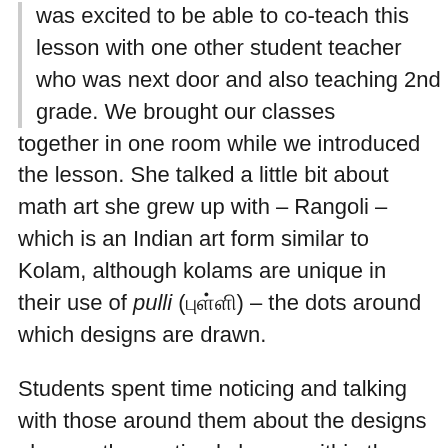was excited to be able to co-teach this lesson with one other student teacher who was next door and also teaching 2nd grade. We brought our classes together in one room while we introduced the lesson. She talked a little bit about math art she grew up with – Rangoli – which is an Indian art form similar to Kolam, although kolams are unique in their use of pulli (புள்ளி) – the dots around which designs are drawn.
Students spent time noticing and talking with those around them about the designs above – they noticed shapes within the kolams and how the lines went around (and not through) the dots. They noticed symmetry (a new word for many of them), and quite a bit about the number of dots in each row and how that affected the design. Then it was time for students to go back to (or stay in) their respective classrooms and try drawing their